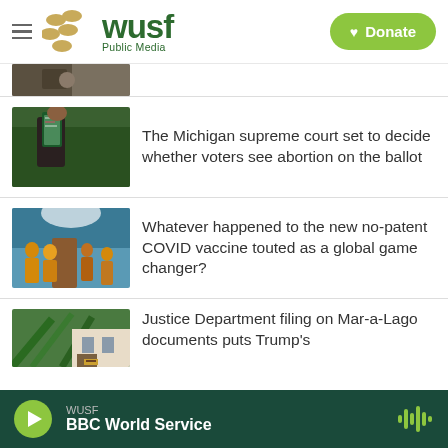WUSF Public Media — Donate
[Figure (photo): Partial image at top of news feed, person partially visible]
The Michigan supreme court set to decide whether voters see abortion on the ballot
Whatever happened to the new no-patent COVID vaccine touted as a global game changer?
Justice Department filing on Mar-a-Lago documents puts Trump's
WUSF — BBC World Service (audio player bar)